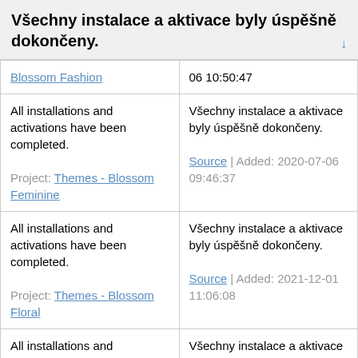Všechny instalace a aktivace byly úspěšně dokončeny.
| Blossom Fashion | 06 10:50:47 |
| All installations and activations have been completed.
Project: Themes - Blossom Feminine | Všechny instalace a aktivace byly úspěšně dokončeny.
Source | Added: 2020-07-06 09:46:37 |
| All installations and activations have been completed.
Project: Themes - Blossom Floral | Všechny instalace a aktivace byly úspěšně dokončeny.
Source | Added: 2021-12-01 11:06:08 |
| All installations and activations have been | Všechny instalace a aktivace byly úspěšně |